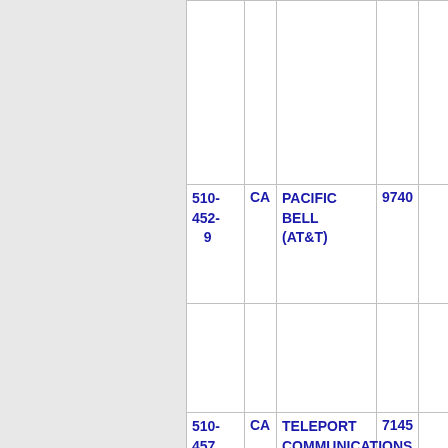| Phone | State | Name | Number | Extra |
| --- | --- | --- | --- | --- |
|  |  |  |  |  |
| 510-452-9 | CA | PACIFIC BELL (AT&T) | 9740 |  |
|  |  |  |  |  |
| 510-457 | CA | TELEPORT COMMUNICATIONS AMERIC (AT&T) | 7145 |  |